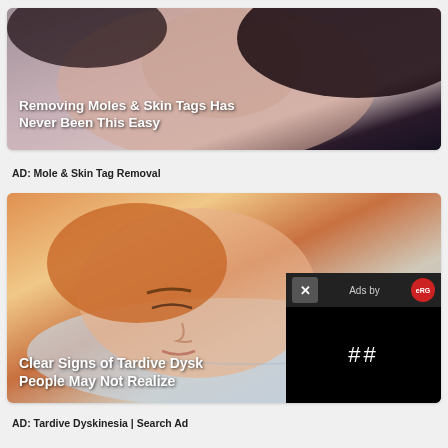[Figure (photo): Close-up photo of a woman's face with dark hair, used as advertisement image for mole and skin tag removal product. White bold text overlay reads: Removing Moles & Skin Tags Has Never Been This Easy]
AD: Mole & Skin Tag Removal
[Figure (illustration): Cartoon/comic-style illustration of a person sleeping on a pillow. Bold white text overlay reads: Clear Signs of Tardive Dysk[inesia] People May Not Realize. An ad overlay in the bottom-right corner shows a close button (X), 'Ads by' with a red logo, a black content area, and a pause button.]
AD: Tardive Dyskinesia | Search Ad